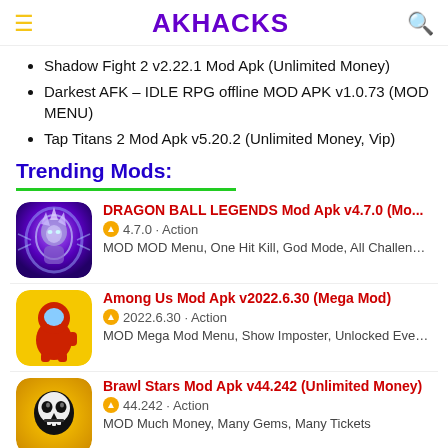AKHACKS
Shadow Fight 2 v2.22.1 Mod Apk (Unlimited Money)
Darkest AFK – IDLE RPG offline MOD APK v1.0.73 (MOD MENU)
Tap Titans 2 Mod Apk v5.20.2 (Unlimited Money, Vip)
Trending Mods:
[Figure (screenshot): Dragon Ball Legends game icon — blue/purple glowing character]
DRAGON BALL LEGENDS Mod Apk v4.7.0 (Mo... 4.7.0 · Action MOD MOD Menu, One Hit Kill, God Mode, All Challenge...
[Figure (screenshot): Among Us game icon — red crewmate on yellow background]
Among Us Mod Apk v2022.6.30 (Mega Mod) 2022.6.30 · Action MOD Mega Mod Menu, Show Imposter, Unlocked Everyt...
[Figure (screenshot): Brawl Stars game icon — skull character on yellow/black background]
Brawl Stars Mod Apk v44.242 (Unlimited Money) 44.242 · Action MOD Much Money, Many Gems, Many Tickets